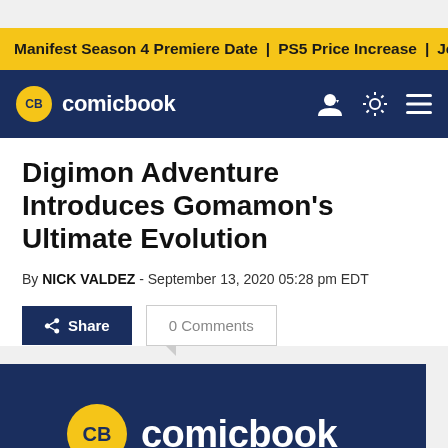Manifest Season 4 Premiere Date | PS5 Price Increase | Jon M
CB comicbook
Digimon Adventure Introduces Gomamon's Ultimate Evolution
By NICK VALDEZ - September 13, 2020 05:28 pm EDT
Share | 0 Comments
[Figure (logo): ComicBook.com logo on dark navy background]